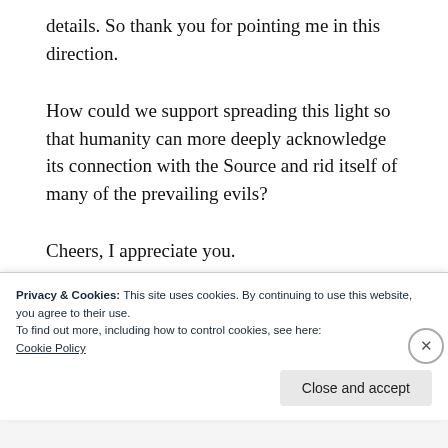details. So thank you for pointing me in this direction.
How could we support spreading this light so that humanity can more deeply acknowledge its connection with the Source and rid itself of many of the prevailing evils?
Cheers, I appreciate you.
Shakti
Privacy & Cookies: This site uses cookies. By continuing to use this website, you agree to their use.
To find out more, including how to control cookies, see here: Cookie Policy